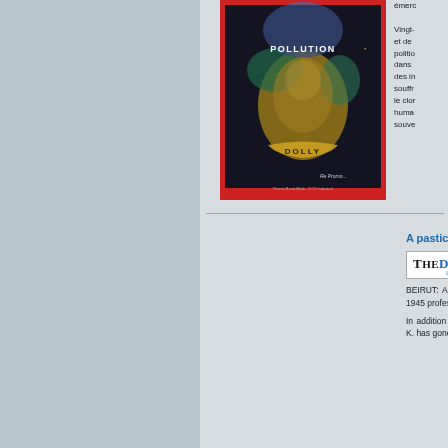[Figure (illustration): Artwork painting with text 'POLLUTION' and 'DOLLY', featuring a colorful mixed-media collage with a face and red border]
émerc... Vingt- et de politio dans des in souffr le clor huma souve
A pastiche of styles in herita
[Figure (logo): The Daily Star Lebanon newspaper logo]
By Soph
BEIRUT: Arthur K. is a contempo self-made painter. Born in 1945 profession, as well as a poet and ar
In addition to working in multiple fiel his artistic career Arthur K. has gone Nicolian, Nakoul and more recently